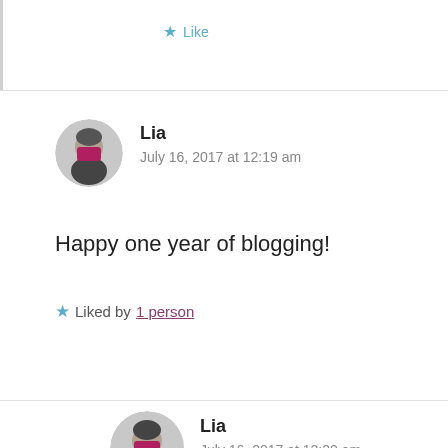Like
Lia
July 16, 2017 at 12:19 am
Happy one year of blogging!
Liked by 1 person
Lia
July 16, 2017 at 12:20 am
My favourite book of this year is